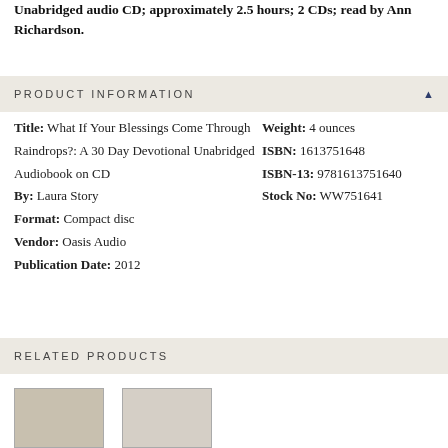Unabridged audio CD; approximately 2.5 hours; 2 CDs; read by Ann Richardson.
PRODUCT INFORMATION
| Title: | What If Your Blessings Come Through Raindrops?: A 30 Day Devotional Unabridged Audiobook on CD | Weight: | 4 ounces |
| By: | Laura Story | ISBN: | 1613751648 |
| Format: | Compact disc | ISBN-13: | 9781613751640 |
| Vendor: | Oasis Audio | Stock No: | WW751641 |
| Publication Date: | 2012 |  |  |
RELATED PRODUCTS